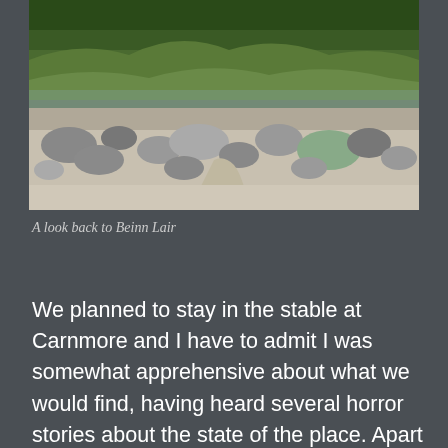[Figure (photo): A coastal/lochside landscape showing a rocky shoreline with pebbles and boulders, green mossy grass on hills in the background, and water visible. Looking back towards Beinn Lair.]
A look back to Beinn Lair
We planned to stay in the stable at Carnmore and I have to admit I was somewhat apprehensive about what we would find, having heard several horror stories about the state of the place. Apart from being hot and midge infested it was tolerable for one short night, no rats as previously reported and decent water supply about 100m away. 30 minutes of smoky coils rid the room of midges. The floor is just soil; there are three raised iron bedsteads for sleeping and an interesting collection of ferns growing in one